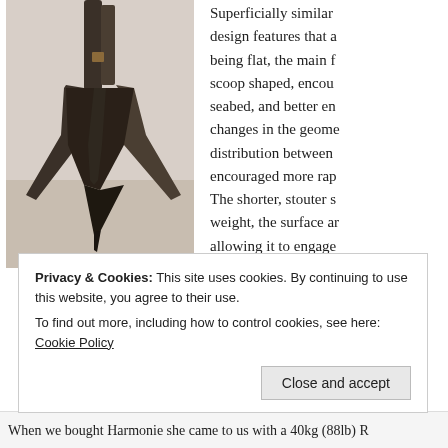[Figure (photo): Close-up photo of a 40kg Rocna anchor showing its dark metal scoop-shaped fluke and shank against a light background]
Our 40kg Rocna
Superficially similar design features that a being flat, the main f scoop shaped, encour seabed, and better en changes in the geome distribution between encouraged more rap The shorter, stouter s weight, the surface ar allowing it to engage what holds the boat.
Privacy & Cookies: This site uses cookies. By continuing to use this website, you agree to their use.
To find out more, including how to control cookies, see here: Cookie Policy
Close and accept
When we bought Harmonie she came to us with a 40kg (88lb) R